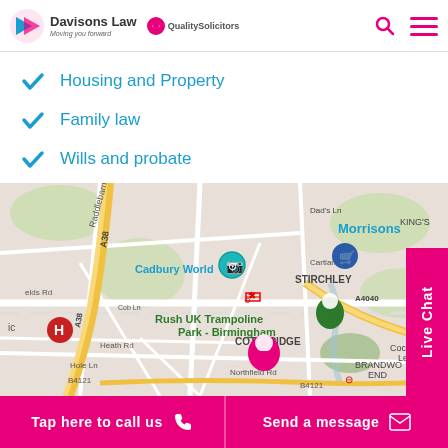Davisons Law | QualitySolicitors
Housing and Property
Family law
Wills and probate
[Figure (map): Google Maps showing area around Cotteridge, Birmingham, UK. Landmarks visible include Cadbury World, Morrisons, Rush UK Trampoline Park Birmingham, Stirchley, Cocks Moors, Brandwood End. Roads include A38, A4040, B4121, Heath Rd, Northfield Rd, Cartland Rd, Hole Ln, Cob Ln, Raddlebarn. A pink location pin is shown in Cotteridge area.]
Tap here to call us
Send a message